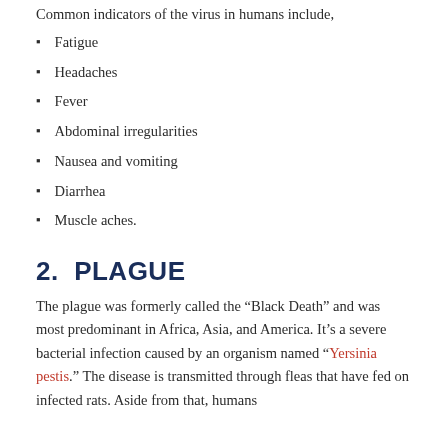Common indicators of the virus in humans include,
Fatigue
Headaches
Fever
Abdominal irregularities
Nausea and vomiting
Diarrhea
Muscle aches.
2.  PLAGUE
The plague was formerly called the “Black Death” and was most predominant in Africa, Asia, and America. It’s a severe bacterial infection caused by an organism named “Yersinia pestis.” The disease is transmitted through fleas that have fed on infected rats. Aside from that, humans